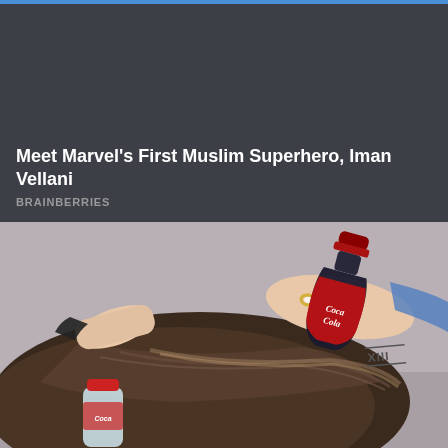[Figure (photo): Dark gray/charcoal background card with title text overlay at bottom reading 'Meet Marvel's First Muslim Superhero, Iman Vellani' attributed to BRAINBERRIES]
Meet Marvel's First Muslim Superhero, Iman Vellani
BRAINBERRIES
[Figure (photo): Photo of a person's head face-down on a reflective surface, with two hands holding a Coca-Cola bottle against the back of their head. One hand has a ring and the forearm shows a Roman numeral XIII tattoo. A separate Coca-Cola bottle sits in the lower left corner.]